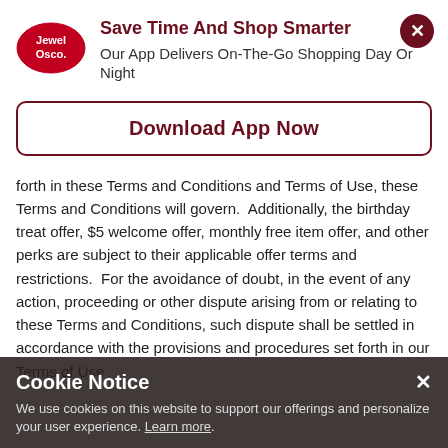[Figure (logo): Jewel-Osco oval logo in red with white text]
Save Time And Shop Smarter
Our App Delivers On-The-Go Shopping Day Or Night
Download App Now
forth in these Terms and Conditions and Terms of Use, these Terms and Conditions will govern.  Additionally, the birthday treat offer, $5 welcome offer, monthly free item offer, and other perks are subject to their applicable offer terms and restrictions.  For the avoidance of doubt, in the event of any action, proceeding or other dispute arising from or relating to these Terms and Conditions, such dispute shall be settled in accordance with the provisions and procedures set forth in our Terms of Use
Cookie Notice
We use cookies on this website to support our offerings and personalize your user experience. Learn more.